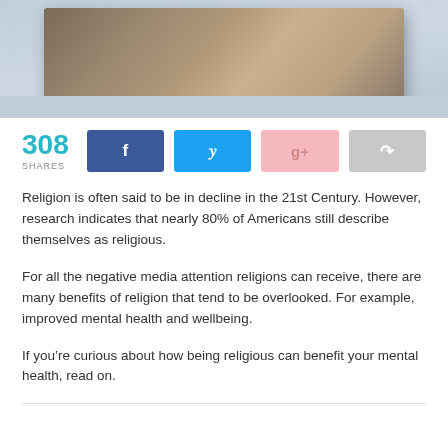[Figure (photo): A blurred close-up photo of what appears to be a book or notebook on a light blue/grey surface]
308 SHARES
Religion is often said to be in decline in the 21st Century. However, research indicates that nearly 80% of Americans still describe themselves as religious.
For all the negative media attention religions can receive, there are many benefits of religion that tend to be overlooked. For example, improved mental health and wellbeing.
If you’re curious about how being religious can benefit your mental health, read on.